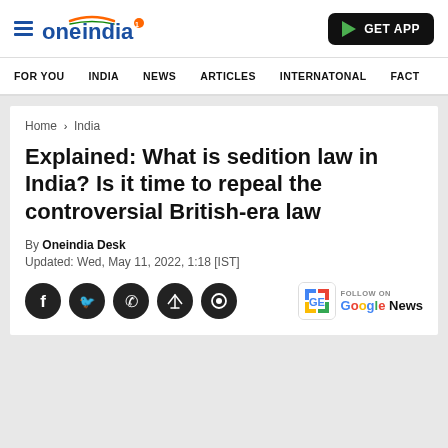oneindia — GET APP — FOR YOU  INDIA  NEWS  ARTICLES  INTERNATONAL  FACT
Home > India
Explained: What is sedition law in India? Is it time to repeal the controversial British-era law
By Oneindia Desk
Updated: Wed, May 11, 2022, 1:18 [IST]